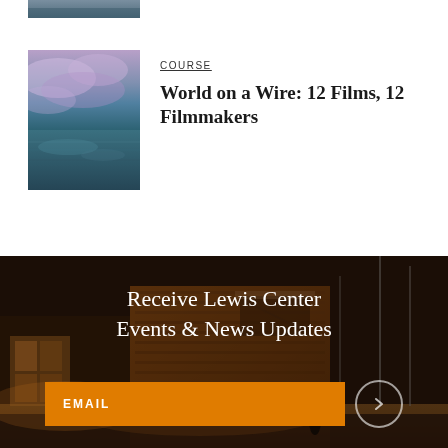[Figure (photo): Partially visible thumbnail image at top of page, showing sky/water scene cropped]
COURSE
World on a Wire: 12 Films, 12 Filmmakers
[Figure (photo): Thumbnail image of a seascape with purple-tinted sky and water reflections]
[Figure (photo): Background photo of Lewis Center building exterior at dusk/evening showing modern architecture with glass and wood panels]
Receive Lewis Center Events & News Updates
EMAIL